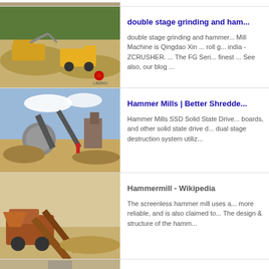[Figure (photo): Top strip image of quarry/crushing equipment, partially visible]
[Figure (photo): Quarry scene with heavy machinery including excavator and loader on dirt terrain with trees in background, Liming logo visible]
double stage grinding and ham...
double stage grinding and hammer... Mill Machine is Qingdao Xin ... roll g... india - ZCRUSHER. ... The FG Seri... finest ... See also, our blog ...
[Figure (photo): Industrial quarry or mining site with conveyor belts, crusher equipment, and material piles]
Hammer Mills | Better Shredde...
Hammer Mills SSD Solid State Driv... boards, and other solid state drive d... dual stage destruction system utiliz...
[Figure (photo): Old rusty mining or crushing equipment with conveyor belt structure on sandy/gravel terrain]
Hammermill - Wikipedia
The screenless hammer mill uses a... more reliable, and is also claimed to... The design & structure of the hamm...
[Figure (photo): Bottom partial image of equipment/machinery, barely visible]